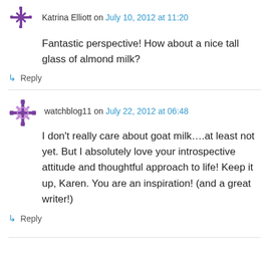Katrina Elliott on July 10, 2012 at 11:20
Fantastic perspective! How about a nice tall glass of almond milk?
↳ Reply
watchblog11 on July 22, 2012 at 06:48
I don't really care about goat milk….at least not yet. But I absolutely love your introspective attitude and thoughtful approach to life! Keep it up, Karen. You are an inspiration! (and a great writer!)
↳ Reply